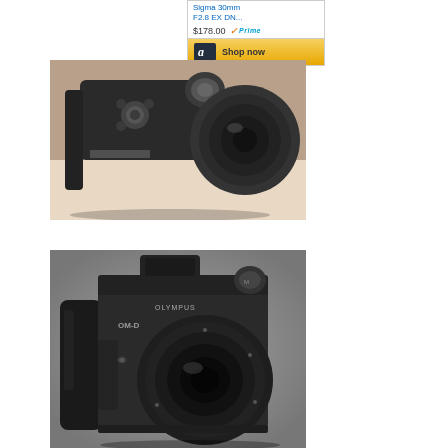[Figure (screenshot): Amazon product widget showing Sigma 30mm F2.8 EX DN lens priced at $178.00 with Prime badge and Shop now button with Amazon logo]
[Figure (photo): Close-up sepia-toned photograph of a mirrorless camera body with a lens attached, showing control dials and buttons, viewed from above on a light surface]
[Figure (photo): Black and white photograph of an Olympus OM-D mirrorless camera body with lens attached, shown from the front at a slight angle]